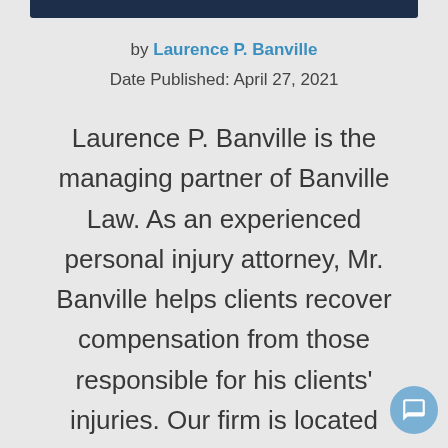[Figure (other): Dark navy blue header bar at the top of the content block]
by Laurence P. Banville
Date Published: April 27, 2021
Laurence P. Banville is the managing partner of Banville Law. As an experienced personal injury attorney, Mr. Banville helps clients recover compensation from those responsible for his clients' injuries. Our firm is located